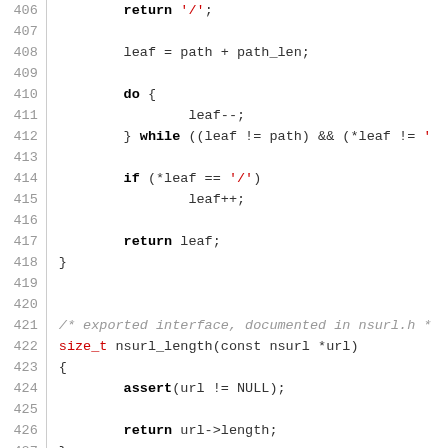[Figure (screenshot): Source code listing in C showing lines 406-435 with syntax highlighting. Functions include nsurl_leaf, nsurl_length, and nsurl_hash. Line numbers shown in grey on left, keywords in bold black, function names and types in red, comments in grey italic, string literals in red.]